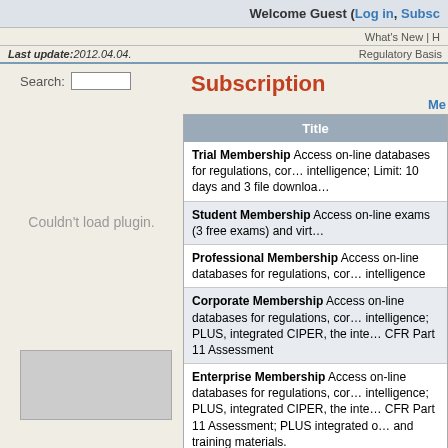Welcome Guest (Log in, Subsc…
What's New | H…
Last update:2012.04.04.   Regulatory Basis
Search:
Subscription
Me…
Couldn't load plugin.
| Title |
| --- |
| Trial Membership
Access on-line databases for regulations, cor… intelligence; Limit: 10 days and 3 file downloa… |
| Student Membership
Access on-line exams (3 free exams) and virt… |
| Professional Membership
Access on-line databases for regulations, cor… intelligence |
| Corporate Membership
Access on-line databases for regulations, cor… intelligence; PLUS, integrated CIPER, the inte… CFR Part 11 Assessment |
| Enterprise Membership
Access on-line databases for regulations, cor… intelligence; PLUS, integrated CIPER, the inte… CFR Part 11 Assessment; PLUS integrated o… and training materials. |